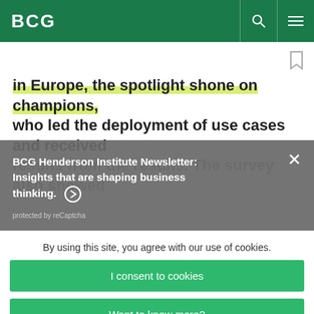BCG
in Europe, the spotlight shone on champions, who led the deployment of use cases and received results from the results. The survey also showed
BCG Henderson Institute Newsletter: Insights that are shaping business thinking. ➜
protected by reCaptcha
By using this site, you agree with our use of cookies.
I consent to cookies
Want to know more?
Read our Cookie Policy